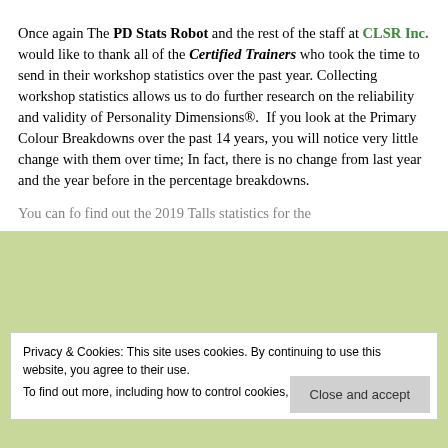Once again The PD Stats Robot and the rest of the staff at CLSR Inc. would like to thank all of the Certified Trainers who took the time to send in their workshop statistics over the past year. Collecting workshop statistics allows us to do further research on the reliability and validity of Personality Dimensions®.  If you look at the Primary Colour Breakdowns over the past 14 years, you will notice very little change with them over time; In fact, there is no change from last year and the year before in the percentage breakdowns.
Privacy & Cookies: This site uses cookies. By continuing to use this website, you agree to their use.
To find out more, including how to control cookies, see here: Cookie Policy